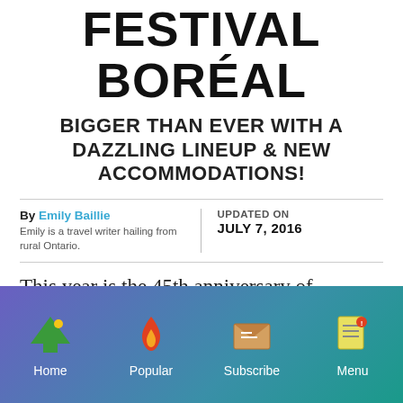FESTIVAL BORÉAL
BIGGER THAN EVER WITH A DAZZLING LINEUP & NEW ACCOMMODATIONS!
By Emily Baillie
Emily is a travel writer hailing from rural Ontario.
UPDATED ON
JULY 7, 2016
This year is the 45th anniversary of
Home | Popular | Subscribe | Menu